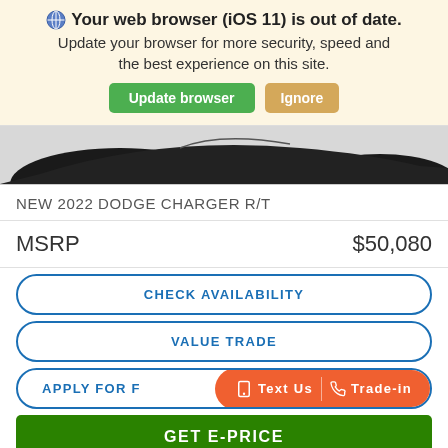Your web browser (iOS 11) is out of date. Update your browser for more security, speed and the best experience on this site.
[Figure (screenshot): Browser update warning banner with Update browser (green) and Ignore (tan) buttons]
[Figure (photo): Partial view of a black Dodge Charger car image]
NEW 2022 DODGE CHARGER R/T
| MSRP | $50,080 |
| --- | --- |
CHECK AVAILABILITY
VALUE TRADE
APPLY FOR F...
GET E-PRICE